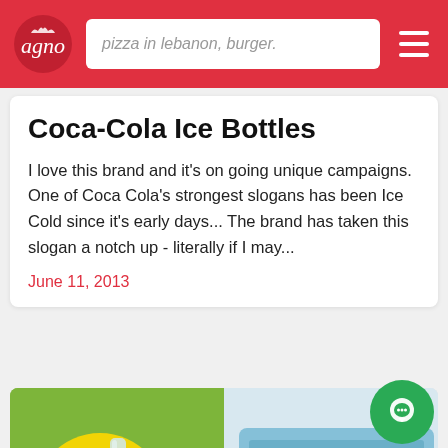agno — pizza in lebanon, burger.
Coca-Cola Ice Bottles
I love this brand and it's on going unique campaigns. One of Coca Cola's strongest slogans has been Ice Cold since it's early days... The brand has taken this slogan a notch up - literally if I may...
June 11, 2013
[Figure (photo): Left: glass of orange juice with an ice straw and lemon slice. Right: blue silicone ice tray mold with striped slots.]
FOOD GADGETS
Ice Straws: Add Chills to Any